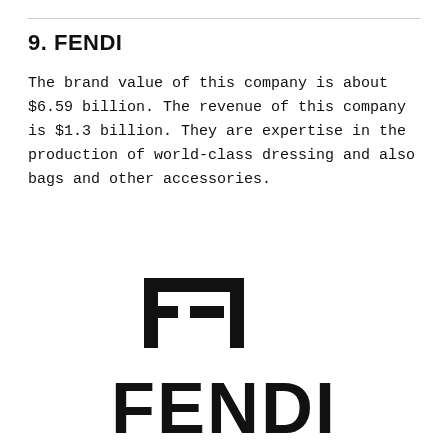9. FENDI
The brand value of this company is about $6.59 billion. The revenue of this company is $1.3 billion. They are expertise in the production of world-class dressing and also bags and other accessories.
[Figure (logo): Fendi brand logo with the double-F monogram symbol above the word FENDI in bold black letters]